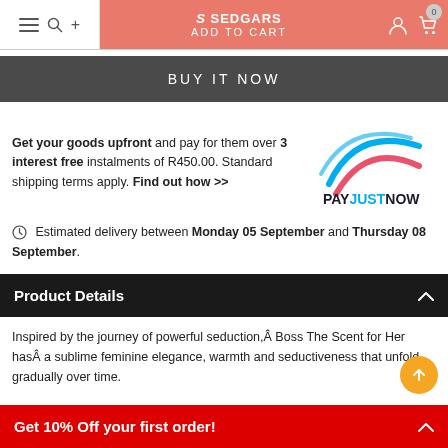SEDGARS ADD TO CART
BUY IT NOW
Get your goods upfront and pay for them over 3 interest free instalments of R450.00. Standard shipping terms apply. Find out how >>
[Figure (logo): PayJustNow logo with blue and pink arc lines above the text PAYJUSTNOW]
Estimated delivery between Monday 05 September and Thursday 08 September.
Product Details
Inspired by the journey of powerful seduction, Boss The Scent for Her has a sublime feminine elegance, warmth and seductiveness that unfold gradually over time.
Get 10% Off your first order!